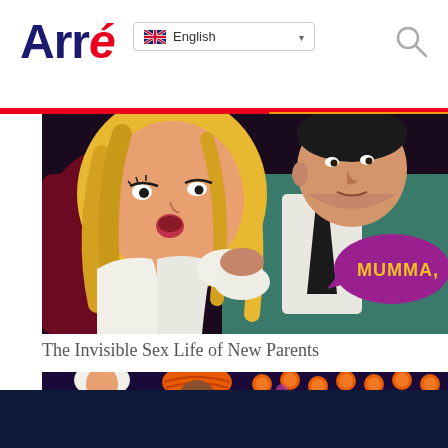Arré — English language selector, search icon
[Figure (illustration): Comic book pop-art style illustration of a blonde woman and a man in a teal suit embracing, with a purple speech bubble showing the text 'MUMMA,' on a dark background]
The Invisible Sex Life of New Parents
[Figure (illustration): Illustration of a wedding scene with a bride in white dress and a groom in orange/red turban, surrounded by orange marigold flowers and colorful decorations on a dark background]